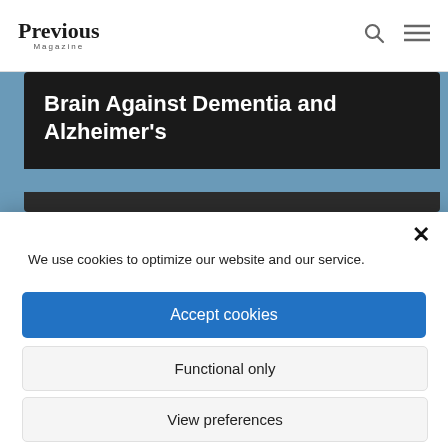Previous Magazine
Brain Against Dementia and Alzheimer's
We use cookies to optimize our website and our service.
Accept cookies
Functional only
View preferences
Cookie Policy  Privacy Policy